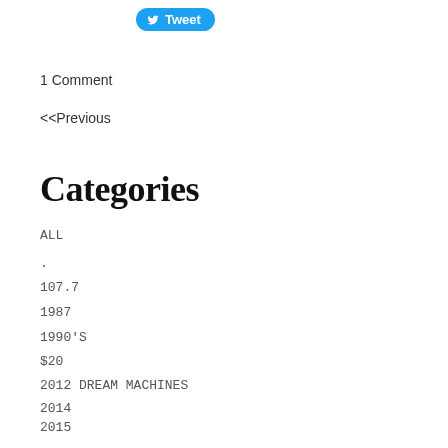[Figure (other): Twitter Tweet button with bird icon, blue rounded button]
1 Comment
<<Previous
Categories
ALL
.
107.7
1987
1990'S
$20
2012 DREAM MACHINES
2014
2015
2020